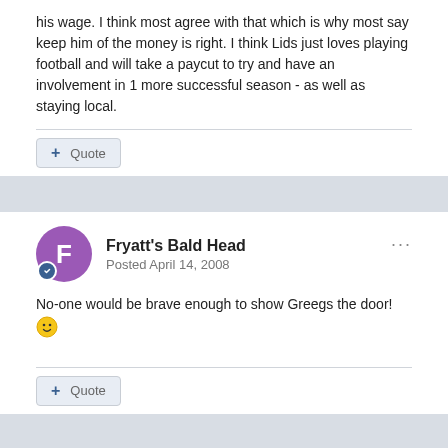his wage. I think most agree with that which is why most say keep him of the money is right. I think Lids just loves playing football and will take a paycut to try and have an involvement in 1 more successful season - as well as staying local.
+ Quote
Fryatt's Bald Head
Posted April 14, 2008
No-one would be brave enough to show Greegs the door! 🙂
+ Quote
edhunteruk